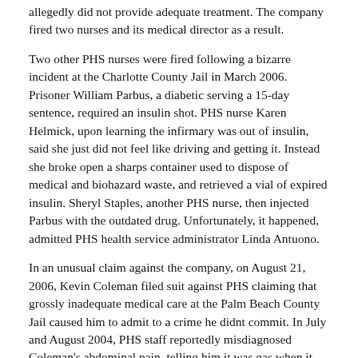allegedly did not provide adequate treatment. The company fired two nurses and its medical director as a result.
Two other PHS nurses were fired following a bizarre incident at the Charlotte County Jail in March 2006. Prisoner William Parbus, a diabetic serving a 15-day sentence, required an insulin shot. PHS nurse Karen Helmick, upon learning the infirmary was out of insulin, said she just did not feel like driving and getting it. Instead she broke open a sharps container used to dispose of medical and biohazard waste, and retrieved a vial of expired insulin. Sheryl Staples, another PHS nurse, then injected Parbus with the outdated drug. Unfortunately, it happened, admitted PHS health service administrator Linda Antuono.
In an unusual claim against the company, on August 21, 2006, Kevin Coleman filed suit against PHS claiming that grossly inadequate medical care at the Palm Beach County Jail caused him to admit to a crime he didnt commit. In July and August 2004, PHS staff reportedly misdiagnosed Coleman's abdominal pain, telling him it was gas when it was in fact diverticulitis, an inflammation of small pouches in the colon. Coleman lost 30 lbs. and eventually required emergency surgery. Convicted of first-degree murder in 1992, Coleman was being held at the jail pending a new trial after it was learned a detective had suppressed evidence in his case. He reluctantly pled no contest to a lesser charge in